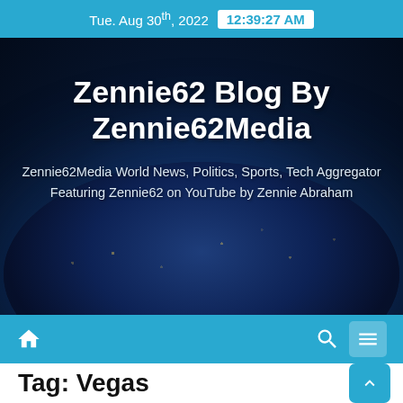Tue. Aug 30th, 2022  12:39:27 AM
Zennie62 Blog By Zennie62Media
Zennie62Media World News, Politics, Sports, Tech Aggregator Featuring Zennie62 on YouTube by Zennie Abraham
[Figure (screenshot): Navigation bar with home icon on left, search and hamburger menu icons on right, all on blue background]
Tag: Vegas